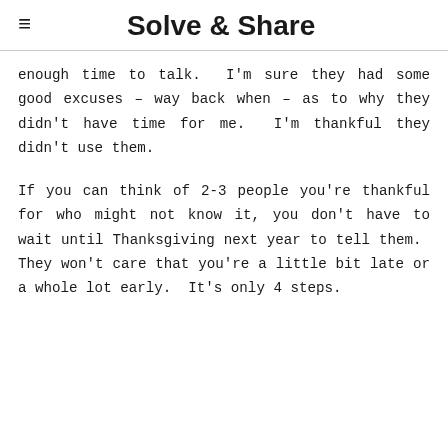Solve & Share
enough time to talk.  I'm sure they had some good excuses – way back when – as to why they didn't have time for me.  I'm thankful they didn't use them.
If you can think of 2-3 people you're thankful for who might not know it, you don't have to wait until Thanksgiving next year to tell them.  They won't care that you're a little bit late or a whole lot early.  It's only 4 steps.